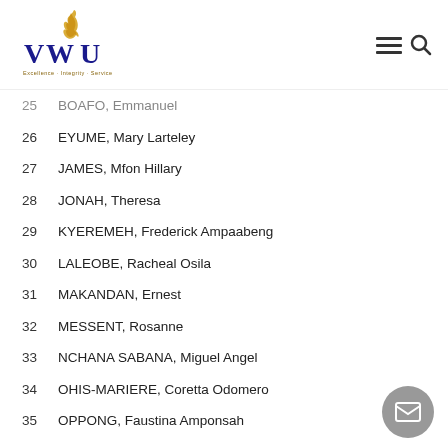VWU logo with navigation icons
25   BOAFO, Emmanuel
26   EYUME, Mary Larteley
27   JAMES, Mfon Hillary
28   JONAH, Theresa
29   KYEREMEH, Frederick Ampaabeng
30   LALEOBE, Racheal Osila
31   MAKANDAN, Ernest
32   MESSENT, Rosanne
33   NCHANA SABANA, Miguel Angel
34   OHIS-MARIERE, Coretta Odomero
35   OPPONG, Faustina Amponsah
36   OSAYOMI, Olajide Emmanuel